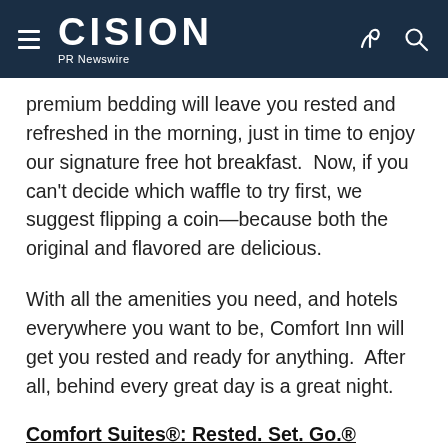CISION PR Newswire
premium bedding will leave you rested and refreshed in the morning, just in time to enjoy our signature free hot breakfast.  Now, if you can't decide which waffle to try first, we suggest flipping a coin—because both the original and flavored are delicious.
With all the amenities you need, and hotels everywhere you want to be, Comfort Inn will get you rested and ready for anything.  After all, behind every great day is a great night.
Comfort Suites®: Rested. Set. Go.®
Bigger really is better. And at Comfort Suites hotels,